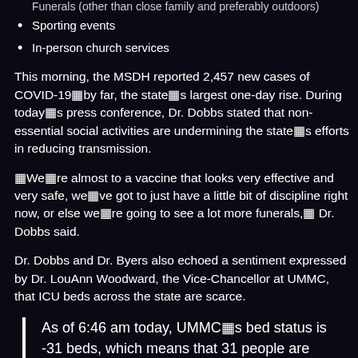Funerals (other than close family and preferably outdoors)
Sporting events
In-person church services
This morning, the MSDH reported 2,457 new cases of COVID-19âby far, the state’s largest one-day rise. During today’s press conference, Dr. Dobbs stated that non-essential social activities are undermining the state’s efforts in reducing transmission.
“We’re almost to a vaccine that looks very effective and very safe, we’ve got to just have a little bit of discipline right now, or else we’re going to see a lot more funerals,” Dr. Dobbs said.
Dr. Dobbs and Dr. Byers also echoed a sentiment expressed by Dr. LouAnn Woodward, the Vice-Chancellor at UMMC, that ICU beds across the state are scarce.
As of 6:46 am today, UMMC’s bed status is -31 beds, which means that 31 people are admitted but waiting for a bed to become available. Who will be #32 or #33 or #34?